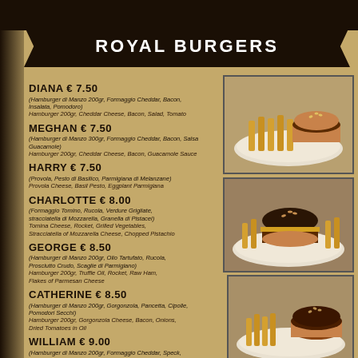ROYAL BURGERS
DIANA € 7.50
(Hamburger di Manzo 200gr, Formaggio Cheddar, Bacon, Insalata, Pomodoro)
Hamburger 200gr, Cheddar Cheese, Bacon, Salad, Tomato
MEGHAN € 7.50
(Hamburger di Manzo 300gr, Formaggio Cheddar, Bacon, Salsa Guacamole)
Hamburger 200gr, Cheddar Cheese, Bacon, Guacamole Sauce
HARRY € 7.50
(Provola, Pesto di Basilico, Parmigiana di Melanzane)
Provola Cheese, Basil Pesto, Eggplant Parmigiana
CHARLOTTE € 8.00
(Formaggio Tomino, Rucola, Verdure Grigliate, stracciatella di Mozzarella, Granella di Pistacei)
Tomina Cheese, Rocket, Grilled Vegetables, Stracciatella of Mozzarella Cheese, Chopped Pistachio
GEORGE € 8.50
(Hamburger di Manzo 200gr, Olio Tartufato, Rucola, Prosciutto Crudo, Scaglie di Parmigiano)
Hamburger 200gr, Truffle Oil, Rocket, Raw Ham, Flakes of Parmesan Cheese
CATHERINE € 8.50
(Hamburger di Manzo 200gr, Gorgonzola, Pancetta, Cipolle, Pomodori Secchi)
Hamburger 200gr, Gorgonzola Cheese, Bacon, Onions, Dried Tomatoes in Oil
WILLIAM € 9.00
(Hamburger di Manzo 200gr, Formaggio Cheddar, Speck, Stracciatella di Mozzarella, Zucchine Fritte)
Hamburger 200gr, Cheddar Cheese, Speck, Stracciatella of Mozzarella Cheese, Fried Zucchini
CAMILLA € 9.00
(Hamburger di Manzo 200gr, Formaggio Tomino, Bresaola, Verdure Grigliate)
Hamburger 200gr, Tomina Cheese, Bresaola, Grilled Vegetables
CHARLES € 9.00
(Hamburger di Manzo 200gr, Formaggio Tomino, Rucola, Pancetta, Funghi)
Hamburger 200gr, Tomino Cheese, Rocket, Bacon, Mushrooms